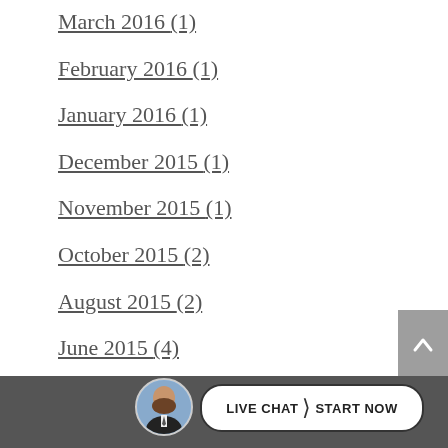March 2016 (1)
February 2016 (1)
January 2016 (1)
December 2015 (1)
November 2015 (1)
October 2015 (2)
August 2015 (2)
June 2015 (4)
May 2015 (4)
[Figure (other): Live chat button with agent avatar at bottom of page]